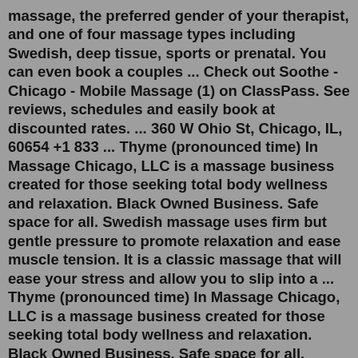massage, the preferred gender of your therapist, and one of four massage types including Swedish, deep tissue, sports or prenatal. You can even book a couples ... Check out Soothe - Chicago - Mobile Massage (1) on ClassPass. See reviews, schedules and easily book at discounted rates. ... 360 W Ohio St, Chicago, IL, 60654 +1 833 ... Thyme (pronounced time) In Massage Chicago, LLC is a massage business created for those seeking total body wellness and relaxation. Black Owned Business. Safe space for all. Swedish massage uses firm but gentle pressure to promote relaxation and ease muscle tension. It is a classic massage that will ease your stress and allow you to slip into a ... Thyme (pronounced time) In Massage Chicago, LLC is a massage business created for those seeking total body wellness and relaxation. Black Owned Business. Safe space for all. Swedish massage uses firm but gentle pressure to promote relaxation and ease muscle tension. It is a classic massage that will ease your stress and allow you to slip into a ... If you have bookingferences on the